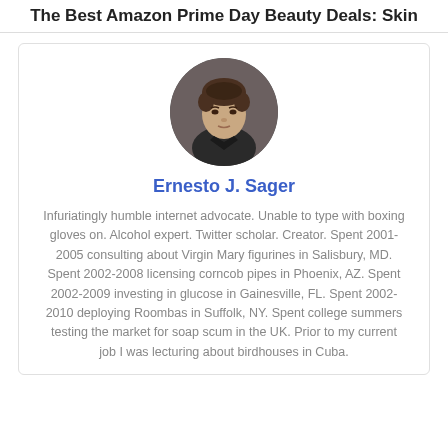The Best Amazon Prime Day Beauty Deals: Skin
[Figure (photo): Circular profile photo of a young man with short dark hair wearing a dark jacket]
Ernesto J. Sager
Infuriatingly humble internet advocate. Unable to type with boxing gloves on. Alcohol expert. Twitter scholar. Creator. Spent 2001-2005 consulting about Virgin Mary figurines in Salisbury, MD. Spent 2002-2008 licensing corncob pipes in Phoenix, AZ. Spent 2002-2009 investing in glucose in Gainesville, FL. Spent 2002-2010 deploying Roombas in Suffolk, NY. Spent college summers testing the market for soap scum in the UK. Prior to my current job I was lecturing about birdhouses in Cuba.